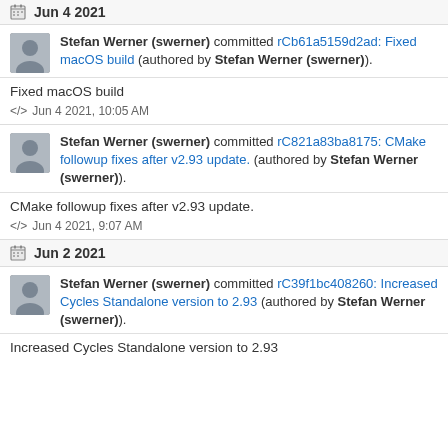Jun 4 2021
Stefan Werner (swerner) committed rCb61a5159d2ad: Fixed macOS build (authored by Stefan Werner (swerner)).
Fixed macOS build
Jun 4 2021, 10:05 AM
Stefan Werner (swerner) committed rC821a83ba8175: CMake followup fixes after v2.93 update. (authored by Stefan Werner (swerner)).
CMake followup fixes after v2.93 update.
Jun 4 2021, 9:07 AM
Jun 2 2021
Stefan Werner (swerner) committed rC39f1bc408260: Increased Cycles Standalone version to 2.93 (authored by Stefan Werner (swerner)).
Increased Cycles Standalone version to 2.93